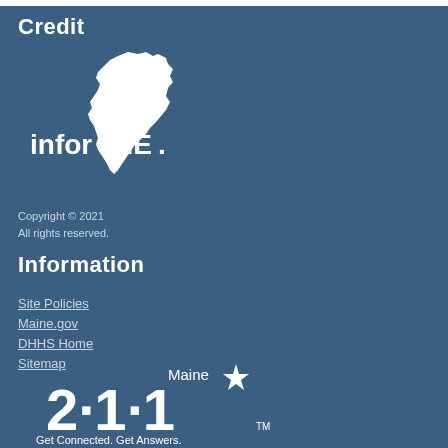Credit
[Figure (logo): inforME logo with Maine state silhouette in white on blue background]
Copyright © 2021
All rights reserved.
Information
Site Policies
Maine.gov
DHHS Home
Sitemap
[Figure (logo): Maine 2-1-1 logo with text 'Get Connected. Get Answers.' and a star in white on blue background]